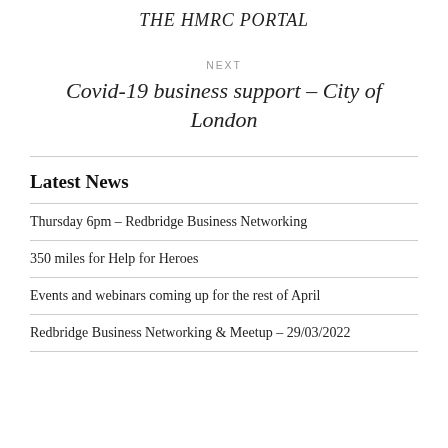THE HMRC PORTAL
NEXT
Covid-19 business support – City of London
Latest News
Thursday 6pm – Redbridge Business Networking
350 miles for Help for Heroes
Events and webinars coming up for the rest of April
Redbridge Business Networking & Meetup – 29/03/2022